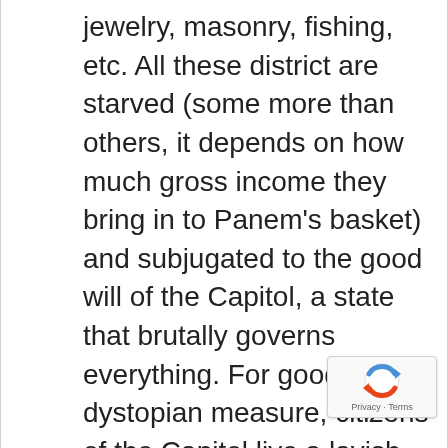jewelry, masonry, fishing, etc. All these district are starved (some more than others, it depends on how much gross income they bring in to Panem's basket) and subjugated to the good will of the Capitol, a state that brutally governs everything. For good dystopian measure, citizens of the Capitol live a lavish and extremely superficial lifestyle. Obviously Katniss comes from one of the poorer districts where hunger is a daily issue. Each year, 2 kids ages 12 thru 18 from each district are picked in a Reaping
[Figure (other): reCAPTCHA badge with Privacy and Terms links]